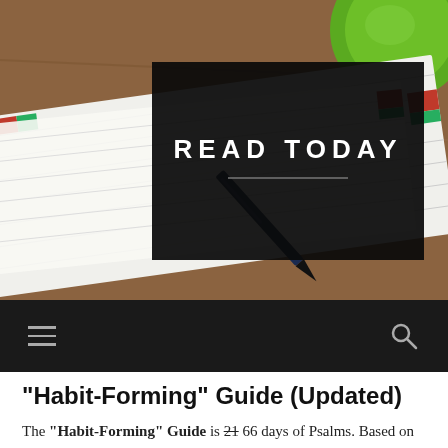[Figure (photo): Photo of notebooks with lined pages, red and green tabs, a dark pen resting on the notebooks, and a green cup/bowl in the upper right corner on a wooden surface. A black overlay box in the center displays 'READ TODAY' in white uppercase letters with a horizontal line beneath.]
READ TODAY
“Habit-Forming” Guide (Updated)
The “Habit-Forming” Guide is 21 66 days of Psalms. Based on the Amplified Bible, it starts with